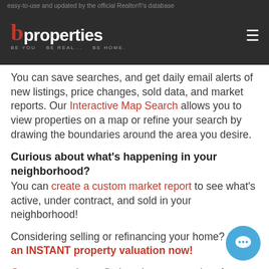easy-to-use and updated by the official Realtor®'s database | b properties — BE YOU. BE REAL... BE HOME.
You can save searches, and get daily email alerts of new listings, price changes, sold data, and market reports. Our Interactive Map Search allows you to view properties on a map or refine your search by drawing the boundaries around the area you desire.
Curious about what's happening in your neighborhood?
You can create a custom market report to see what's active, under contract, and sold in your neighborhood!
Considering selling or refinancing your home? Get an INSTANT property valuation now!
Contact us today to find out how we can be of assistance to you!